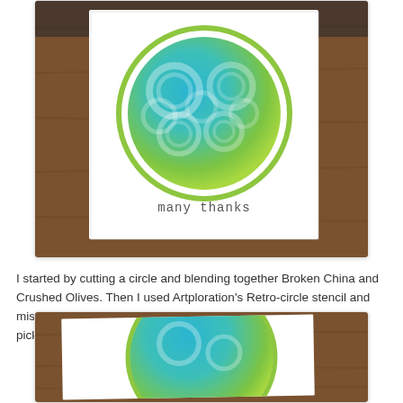[Figure (photo): A handmade greeting card displayed upright on a wooden surface. The card features a large circle with blue and green blended ink (Broken China and Crushed Olives) with a retro circle stencil pattern visible inside. The card has a double ring border in green/yellow-green around the circle. Below the circle, text reads 'many thanks' in a decorative font. The card is white and sitting slightly tilted.]
I started by cutting a circle and blending together Broken China and Crushed Olives. Then I used Artploration's Retro-circle stencil and misted it with water. After about a minute, I used a paper towel to pick up the water and bingo - the pattern appeared.
[Figure (photo): A partial view of the same handmade card laying flat on a wooden table, showing the circle with blue and green blended colors and part of the retro circle stencil pattern.]